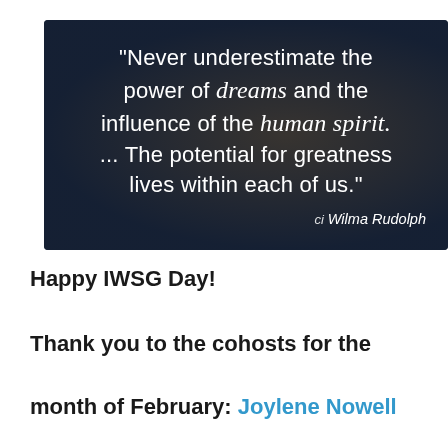[Figure (illustration): Dark blue-toned photo of hands holding a glowing object, overlaid with a motivational quote in white text: '"Never underestimate the power of dreams and the influence of the human spirit. ... The potential for greatness lives within each of us."' attributed to 'ci Wilma Rudolph']
Happy IWSG Day!
Thank you to the cohosts for the month of February: Joylene Nowell